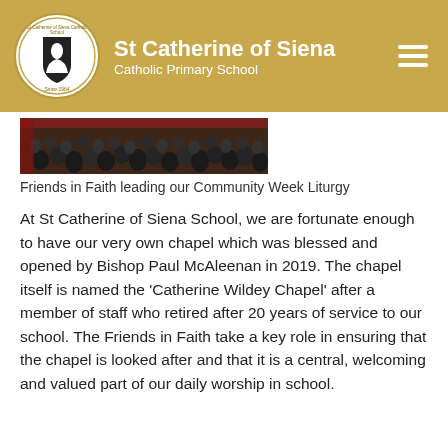St Catherine of Siena Catholic Primary School
[Figure (photo): Crowd of students seated from behind, attending a Community Week Liturgy event in a large hall]
Friends in Faith leading our Community Week Liturgy
At St Catherine of Siena School, we are fortunate enough to have our very own chapel which was blessed and opened by Bishop Paul McAleenan in 2019. The chapel itself is named the ‘Catherine Wildey Chapel’ after a member of staff who retired after 20 years of service to our school. The Friends in Faith take a key role in ensuring that the chapel is looked after and that it is a central, welcoming and valued part of our daily worship in school.